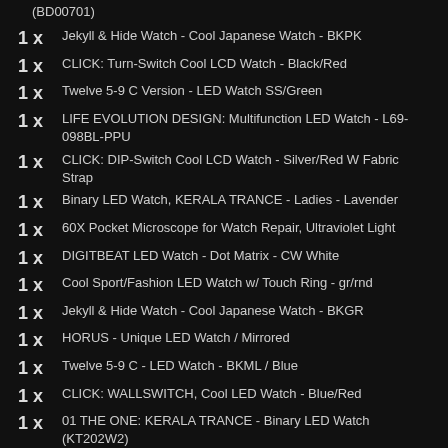(BD00701)
1 x  Jekyll & Hide Watch - Cool Japanese Watch - BKPK
1 x  CLICK: Turn-Switch Cool LCD Watch - Black/Red
1 x  Twelve 5-9 C Version - LED Watch SS/Green
1 x  LIFE EVOLUTION DESIGN: Multifunction LED Watch - L69-098BL-PPU
1 x  CLICK: DIP-Switch Cool LCD Watch - Silver/Red W Fabric Strap
1 x  Binary LED Watch, KERALA TRANCE - Ladies - Lavender
1 x  60X Pocket Microscope for Watch Repair, Ultraviolet Light
1 x  DIGITBEAT LED Watch - Dot Matrix - CW White
1 x  Cool Sport/Fashion LED Watch w/ Touch Ring - gr/rnd
1 x  Jekyll & Hide Watch - Cool Japanese Watch - BKGR
1 x  HORUS - Unique LED Watch / Mirrored
1 x  Twelve 5-9 C - LED Watch - BKML / Blue
1 x  CLICK: WALLSWITCH, Cool LED Watch - Blue/Red
1 x  01 THE ONE: KERALA TRANCE - Binary LED Watch (KT202W2)
1 x  REPLACEMENT STRAP 30MM WIDE FOR KERALA & BLACK DICE
2 x  NIXIE TUBE WATCH FEATURING VINTAGE RUSSIAN